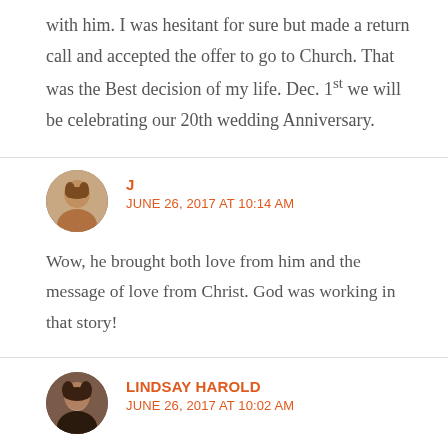with him. I was hesitant for sure but made a return call and accepted the offer to go to Church. That was the Best decision of my life. Dec. 1st we will be celebrating our 20th wedding Anniversary.
J
JUNE 26, 2017 AT 10:14 AM
Wow, he brought both love from him and the message of love from Christ. God was working in that story!
LINDSAY HAROLD
JUNE 26, 2017 AT 10:02 AM